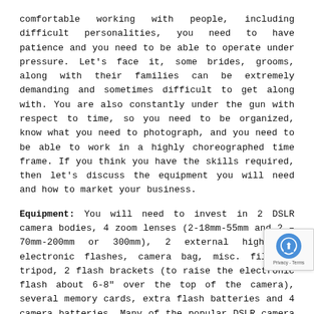comfortable working with people, including difficult personalities, you need to have patience and you need to be able to operate under pressure. Let's face it, some brides, grooms, along with their families can be extremely demanding and sometimes difficult to get along with. You are also constantly under the gun with respect to time, so you need to be organized, know what you need to photograph, and you need to be able to work in a highly choreographed time frame. If you think you have the skills required, then let's discuss the equipment you will need and how to market your business.
Equipment: You will need to invest in 2 DSLR camera bodies, 4 zoom lenses (2-18mm-55mm and 2 – 70mm-200mm or 300mm), 2 external high end electronic flashes, camera bag, misc. filters, tripod, 2 flash brackets (to raise the electronic flash about 6-8" over the top of the camera), several memory cards, extra flash batteries and 4 camera batteries. Many of the popular DSLR camera packages today are manufactured by Nikon or Canon (24 mega pixel), and range in price from a low of $600.00 to $2,000.00+. I don't believe one brand is better than the other, so I would stick with the brand you are most familiar with using. Trust me, you don't need to invest in a full frame DSLR camera. You will need to invest in the best electronic flash made for that brand of camera, which typically r... $500.00. A key point is that you will need 2 of everything just in case y... equipment failure. So, a budget number for all your equipment should run